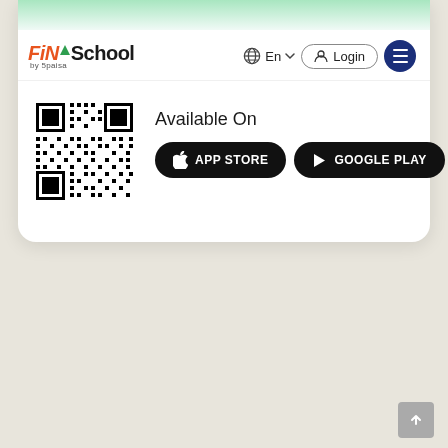[Figure (logo): FinSchool by 5paisa logo with orange italic Fin, green arrow, black School text]
[Figure (screenshot): Navigation bar with globe/En language selector, Login button, and dark blue hamburger menu button]
Available On
[Figure (other): QR code for app download]
[Figure (other): APP STORE button (black pill shape with Apple logo)]
[Figure (other): GOOGLE PLAY button (black pill shape with Play icon)]